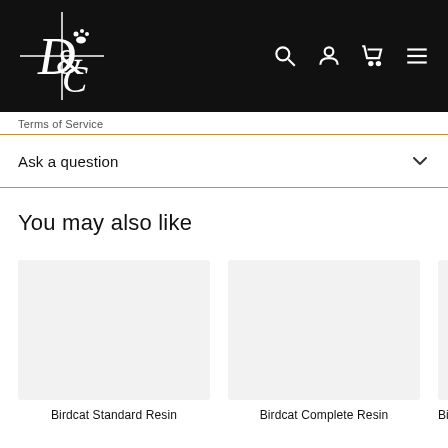D&C [logo with paw print] — navigation icons: search, account, cart, menu
Terms of Service
Ask a question
You may also like
[Figure (photo): Product card image placeholder (light grey) for Birdcat Standard Resin]
Birdcat Standard Resin
[Figure (photo): Product card image placeholder (light grey) for Birdcat Complete Resin]
Birdcat Complete Resin
[Figure (photo): Partial product card image placeholder (light grey) for Birdcc...]
Birdcc